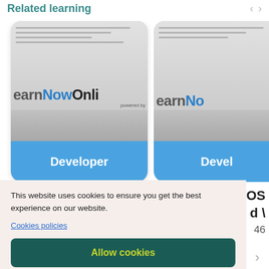Related learning
[Figure (screenshot): LearnNowOnline Developer course card with blue bottom label]
[Figure (screenshot): Partially visible second LearnNowOnline Developer course card]
This website uses cookies to ensure you get the best experience on our website.
Cookies policies
Allow cookies
Accept only essential cookies
Cookie Preferences